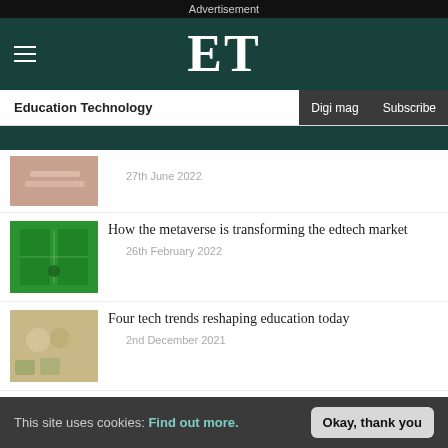Advertisement
ET
Education Technology | Digi mag | Subscribe
27th June 2022
How the metaverse is transforming the edtech market
26th February 2022
Four tech trends reshaping education today
2nd December 2021
Chatbot pilot launched for FE
17th December 2021
This site uses cookies: Find out more. Okay, thank you